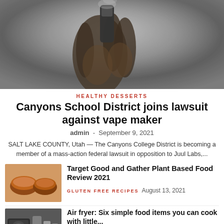[Figure (photo): Close-up of a hand holding a vaping device, smoky background]
HEALTHY DESSERTS
Canyons School District joins lawsuit against vape maker
admin - September 9, 2021
SALT LAKE COUNTY, Utah — The Canyons College District is becoming a member of a mass-action federal lawsuit in opposition to Juul Labs,...
[Figure (photo): Food photo showing plant-based burgers/food items on a plate]
Target Good and Gather Plant Based Food Review 2021
GLUTEN FREE RECIPES   August 13, 2021
[Figure (photo): Air fryer and food items on a counter]
Air fryer: Six simple food items you can cook with little...